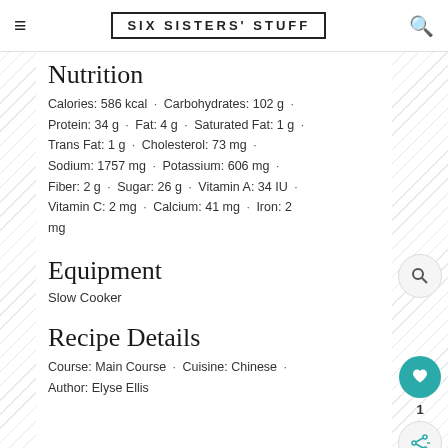SIX SISTERS' STUFF
Nutrition
Calories: 586 kcal · Carbohydrates: 102 g · Protein: 34 g · Fat: 4 g · Saturated Fat: 1 g · Trans Fat: 1 g · Cholesterol: 73 mg · Sodium: 1757 mg · Potassium: 606 mg · Fiber: 2 g · Sugar: 26 g · Vitamin A: 34 IU · Vitamin C: 2 mg · Calcium: 41 mg · Iron: 2 mg
Equipment
Slow Cooker
Recipe Details
Course: Main Course · Cuisine: Chinese · Author: Elyse Ellis